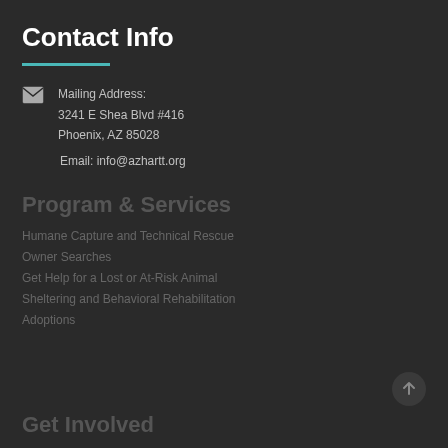Contact Info
Mailing Address:
3241 E Shea Blvd #416
Phoenix, AZ 85028

Email: info@azhartt.org
Program & Services
Humane Capture and Technical Rescue
Owner Searches
Get Help for a Lost or At-Risk Animal
Sheltering and Behavioral Rehabilitation
Adoptions
Get Involved